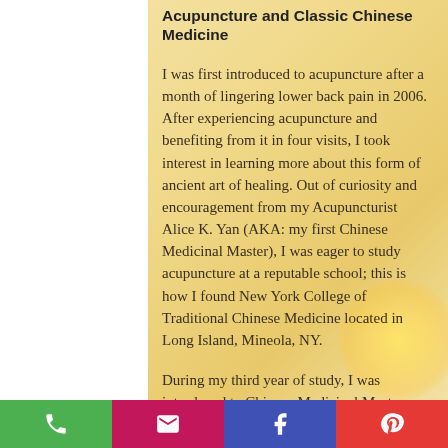Acupuncture and Classic Chinese Medicine
I was first introduced to acupuncture after a month of lingering lower back pain in 2006. After experiencing acupuncture and benefiting from it in four visits, I took interest in learning more about this form of ancient art of healing. Out of curiosity and encouragement from my Acupuncturist Alice K. Yan (AKA: my first Chinese Medicinal Master), I was eager to study acupuncture at a reputable school; this is how I found New York College of Traditional Chinese Medicine located in Long Island, Mineola, NY.
During my third year of study, I was introduced to Chinese Medicinal Master (Dr. Wei-Chieh Young who masters in Master Tung's Acupuncture & Classical Chinese Medicine) by Master Alice through a collection of Chinese Medicinal books she gifted to me. This encounter led to further